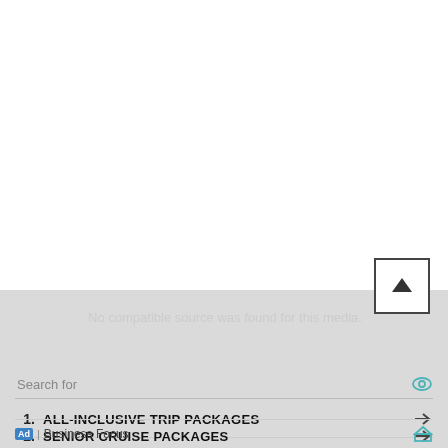[Figure (screenshot): White blank area at top of page, representing empty/blank video or web content area]
No compatible source was found for this media.
Search for
1. ALL-INCLUSIVE TRIP PACKAGES
2. SENIOR CRUISE PACKAGES
Ad | Business Focus